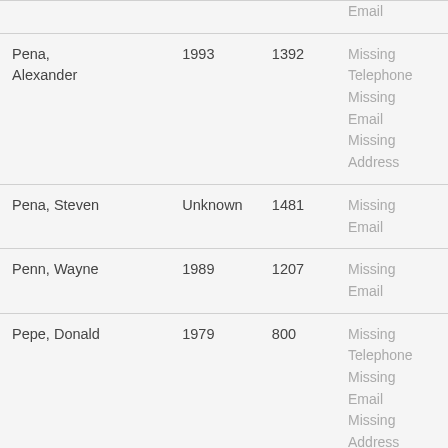| Name | Year | ID | Missing Info |
| --- | --- | --- | --- |
|  |  |  | Email |
| Pena, Alexander | 1993 | 1392 | Missing Telephone
Missing Email
Missing Address |
| Pena, Steven | Unknown | 1481 | Missing Email |
| Penn, Wayne | 1989 | 1207 | Missing Email |
| Pepe, Donald | 1979 | 800 | Missing Telephone
Missing Email
Missing Address |
| Pepper, Byron | 1966 | 470 | Missing Email |